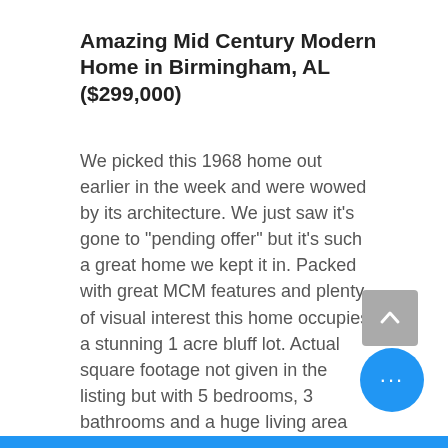Amazing Mid Century Modern Home in Birmingham, AL ($299,000)
We picked this 1968 home out earlier in the week and were wowed by its architecture. We just saw it's gone to "pending offer" but it's such a great home we kept it in. Packed with great MCM features and plenty of visual interest this home occupies a stunning 1 acre bluff lot. Actual square footage not given in the listing but with 5 bedrooms, 3 bathrooms and a huge living area this one is likely close to 4,000 square feet.